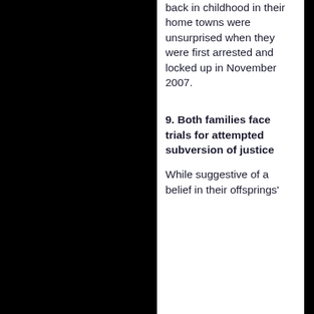back in childhood in their home towns were unsurprised when they were first arrested and locked up in November 2007.
9. Both families face trials for attempted subversion of justice
While suggestive of a belief in their offsprings'